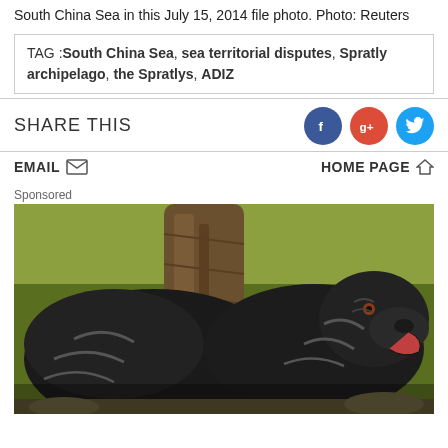South China Sea in this July 15, 2014 file photo. Photo: Reuters
TAG : South China Sea, sea territorial disputes, Spratly archipelago, the Spratlys, ADIZ
SHARE THIS
EMAIL   HOME PAGE
Sponsored
[Figure (photo): Two large black dogs (Cane Corso breed) outdoors near a tree trunk with green foliage in background]